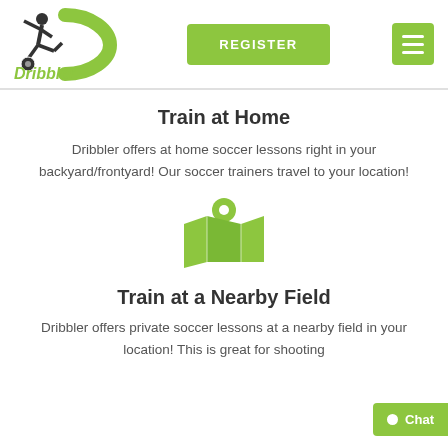[Figure (logo): Dribbler logo with soccer player silhouette and green D letter with italic Dribbler text]
Train at Home
Dribbler offers at home soccer lessons right in your backyard/frontyard! Our soccer trainers travel to your location!
[Figure (illustration): Green map/location icon with a pin drop marker]
Train at a Nearby Field
Dribbler offers private soccer lessons at a nearby field in your location! This is great for shooting